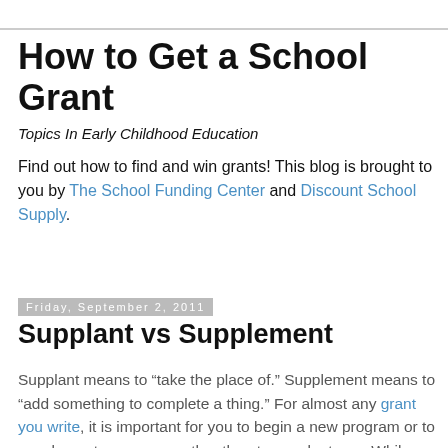How to Get a School Grant
Topics In Early Childhood Education
Find out how to find and win grants! This blog is brought to you by The School Funding Center and Discount School Supply.
Friday, September 2, 2011
Supplant vs Supplement
Supplant means to “take the place of.” Supplement means to “add something to complete a thing.” For almost any grant you write, it is important for you to begin a new program or to supplement a program rather than to supplant one. While most grantors make that fact very plain in their grant literature, some are not as explicit. Regardless of that, you can rest assured they do not want you using their money to supplant a program you already have in place.